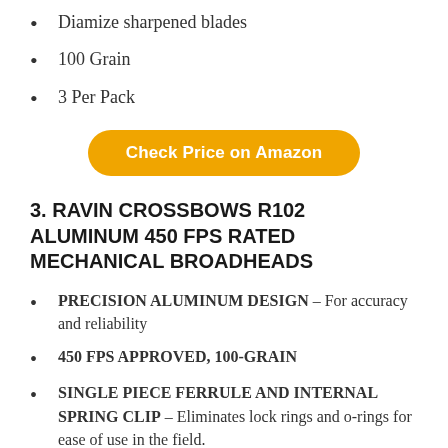Diamize sharpened blades
100 Grain
3 Per Pack
Check Price on Amazon
3. RAVIN CROSSBOWS R102 ALUMINUM 450 FPS RATED MECHANICAL BROADHEADS
PRECISION ALUMINUM DESIGN – For accuracy and reliability
450 FPS APPROVED, 100-GRAIN
SINGLE PIECE FERRULE AND INTERNAL SPRING CLIP – Eliminates lock rings and o-rings for ease of use in the field.
REAR DEPLOYING, 2-INCH CUT MECHANICAL